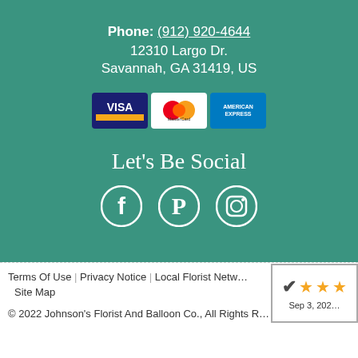Phone: (912) 920-4644
12310 Largo Dr.
Savannah, GA 31419, US
[Figure (illustration): Payment card logos: Visa, MasterCard, American Express]
Let's Be Social
[Figure (illustration): Social media icons: Facebook, Pinterest, Instagram]
Terms Of Use | Privacy Notice | Local Florist Network | Site Map
[Figure (other): Rating badge showing 3 stars, dated Sep 3, 2022]
© 2022 Johnson's Florist And Balloon Co., All Rights Reserved